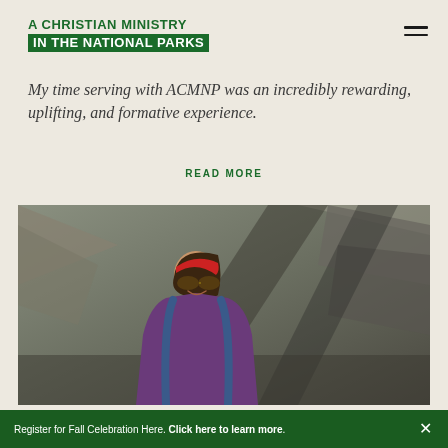A CHRISTIAN MINISTRY IN THE NATIONAL PARKS
My time serving with ACMNP was an incredibly rewarding, uplifting, and formative experience.
READ MORE
[Figure (photo): A young woman wearing a red headband, sunglasses, and a purple fleece jacket with a blue backpack, smiling in front of a rocky cliff backdrop.]
Register for Fall Celebration Here. Click here to learn more.